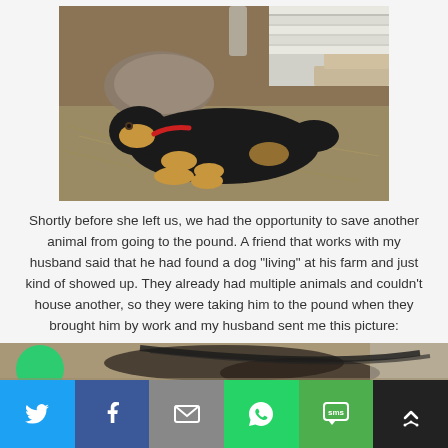[Figure (photo): A black and tan dog lying on straw/hay on the ground near a wooden structure. The dog appears to be a Rottweiler mix resting with its head low.]
Shortly before she left us, we had the opportunity to save another animal from going to the pound.  A friend that works with my husband said that he had found a dog “living” at his farm and just kind of showed up.  They already had multiple animals and couldn’t house another, so they were taking him to the pound when they brought him by work and my husband sent me this picture:
[Figure (photo): Partial view of a second photo showing what appears to be a dog, partially cut off at the bottom of the page.]
Twitter | Facebook | Email | WhatsApp | SMS | More